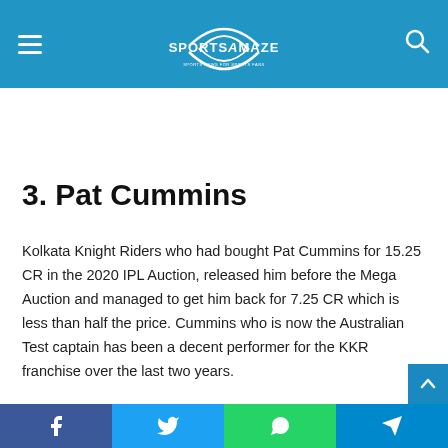SportsAmaze
3. Pat Cummins
Kolkata Knight Riders who had bought Pat Cummins for 15.25 CR in the 2020 IPL Auction, released him before the Mega Auction and managed to get him back for 7.25 CR which is less than half the price. Cummins who is now the Australian Test captain has been a decent performer for the KKR franchise over the last two years.